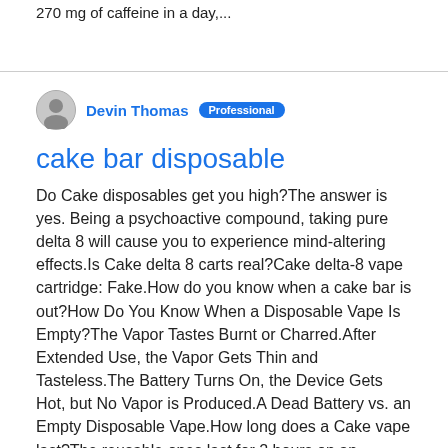270 mg of caffeine in a day,...
Devin Thomas  Professional
cake bar disposable
Do Cake disposables get you high?The answer is yes. Being a psychoactive compound, taking pure delta 8 will cause you to experience mind-altering effects.Is Cake delta 8 carts real?Cake delta-8 vape cartridge: Fake.How do you know when a cake bar is out?How Do You Know When a Disposable Vape Is Empty?The Vapor Tastes Burnt or Charred.After Extended Use, the Vapor Gets Thin and Tasteless.The Battery Turns On, the Device Gets Hot, but No Vapor is Produced.A Dead Battery vs. an Empty Disposable Vape.How long does a Cake vape last?The reusable ones last for 2 hours on an average, while a disposable